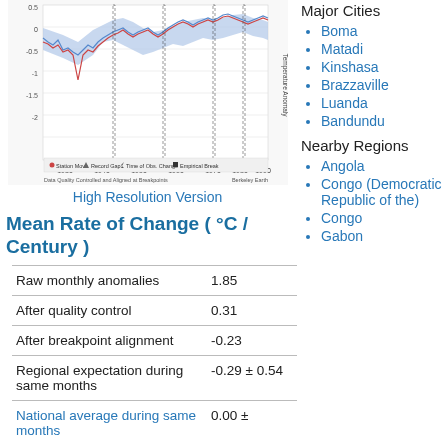[Figure (continuous-plot): Berkeley Earth climate chart showing temperature anomalies from 1920s to 1990s with blue shading, red and blue lines, and markers for Station Move, Record Gap, Time of Obs. Change, and Empirical Break. Y-axis shows Temperature Anomaly from -2 to 0.5. X-axis shows years 1930-1990.]
High Resolution Version
Mean Rate of Change ( °C / Century )
| Raw monthly anomalies | 1.85 |
| After quality control | 0.31 |
| After breakpoint alignment | -0.23 |
| Regional expectation during same months | -0.29 ± 0.54 |
| National average during same months | 0.00 ± |
Major Cities
Boma
Matadi
Kinshasa
Brazzaville
Luanda
Bandundu
Nearby Regions
Angola
Congo (Democratic Republic of the)
Congo
Gabon